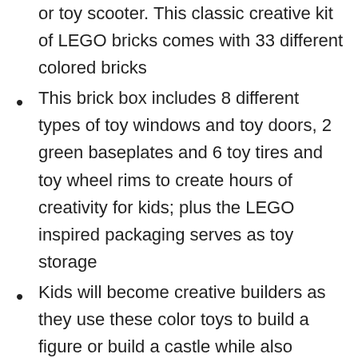or toy scooter. This classic creative kit of LEGO bricks comes with 33 different colored bricks
This brick box includes 8 different types of toy windows and toy doors, 2 green baseplates and 6 toy tires and toy wheel rims to create hours of creativity for kids; plus the LEGO inspired packaging serves as toy storage
Kids will become creative builders as they use these color toys to build a figure or build a castle while also engaging in kids playtime